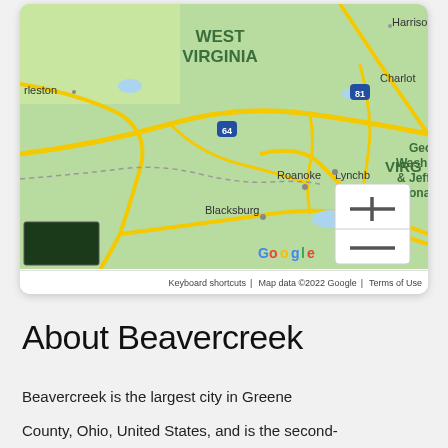[Figure (map): Google Maps screenshot showing West Virginia, Virginia area including Monongahela National Forest, George Washington & Jefferson National Forest, cities Harrisonburg, Roanoke, Lynchburg, Blacksburg, Charleston. Shows interstate highways 64 and 81. Zoom controls (+/-) visible. Google logo and map footer with 'Keyboard shortcuts | Map data ©2022 Google | Terms of Use'.]
About Beavercreek
Beavercreek is the largest city in Greene County, Ohio, United States, and is the second-